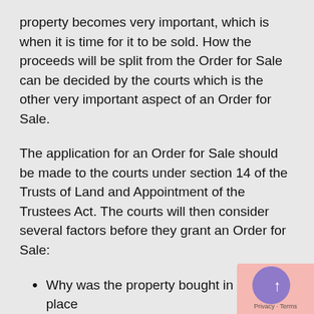property becomes very important, which is when it is time for it to be sold. How the proceeds will be split from the Order for Sale can be decided by the courts which is the other very important aspect of an Order for Sale.
The application for an Order for Sale should be made to the courts under section 14 of the Trusts of Land and Appointment of the Trustees Act. The courts will then consider several factors before they grant an Order for Sale:
Why was the property bought in the first place